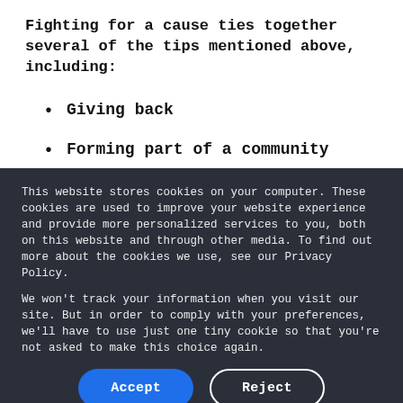Fighting for a cause ties together several of the tips mentioned above, including:
Giving back
Forming part of a community
This website stores cookies on your computer. These cookies are used to improve your website experience and provide more personalized services to you, both on this website and through other media. To find out more about the cookies we use, see our Privacy Policy.
We won't track your information when you visit our site. But in order to comply with your preferences, we'll have to use just one tiny cookie so that you're not asked to make this choice again.